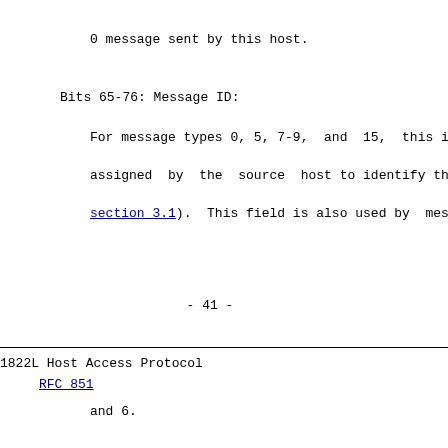0 message sent by this host.
Bits 65-76: Message ID:
For message types 0, 5, 7-9,  and  15,  this i
assigned  by  the  source  host to identify the
section 3.1).  This field is also used by  mess
- 41 -
1822L Host Access Protocol                                    Ap
     RFC 851
and 6.
Bits 77-80: Sub-type:
This field is used as a modifier by message typ